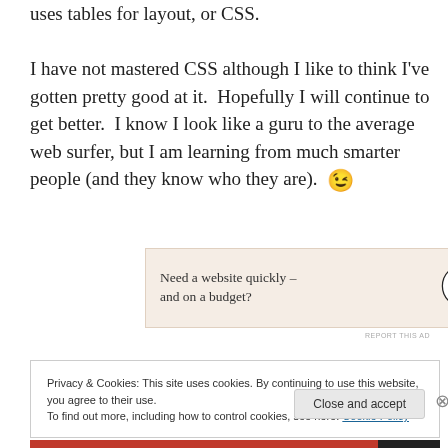uses tables for layout, or CSS.

I have not mastered CSS although I like to think I've gotten pretty good at it.  Hopefully I will continue to get better.  I know I look like a guru to the average web surfer, but I am learning from much smarter people (and they know who they are).  😉
[Figure (other): WordPress advertisement banner with text 'Need a website quickly – and on a budget?' and WordPress logo]
REPORT THIS AD
Privacy & Cookies: This site uses cookies. By continuing to use this website, you agree to their use.
To find out more, including how to control cookies, see here: Cookie Policy
Close and accept